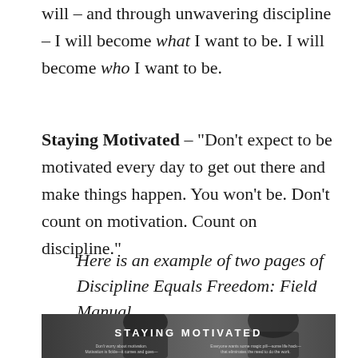will – and through unwavering discipline – I will become what I want to be. I will become who I want to be.
Staying Motivated – “Don’t expect to be motivated every day to get out there and make things happen. You won’t be. Don’t count on motivation. Count on discipline.”
Here is an example of two pages of Discipline Equals Freedom: Field Manual
[Figure (photo): Black and white book spread showing a person with the text STAYING MOTIVATED overlaid in bold white letters, with smaller text below on each page side.]